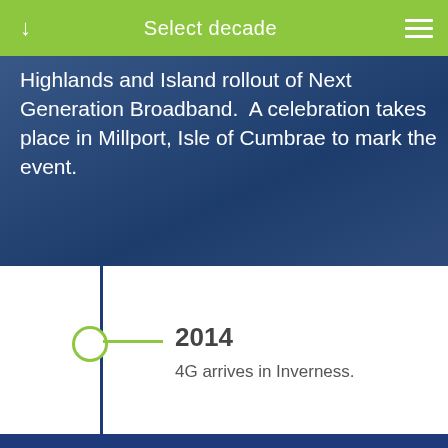Select decade
Highlands and Island rollout of Next Generation Broadband.  A celebration takes place in Millport, Isle of Cumbrae to mark the event.
2014
4G arrives in Inverness.
2015
FIBRE BROADBAND